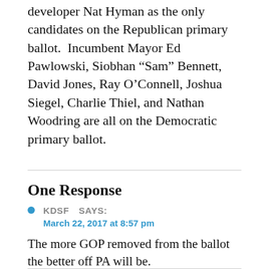developer Nat Hyman as the only candidates on the Republican primary ballot.  Incumbent Mayor Ed Pawlowski, Siobhan “Sam” Bennett, David Jones, Ray O’Connell, Joshua Siegel, Charlie Thiel, and Nathan Woodring are all on the Democratic primary ballot.
One Response
KDSF SAYS:
March 22, 2017 at 8:57 pm
The more GOP removed from the ballot the better off PA will be.